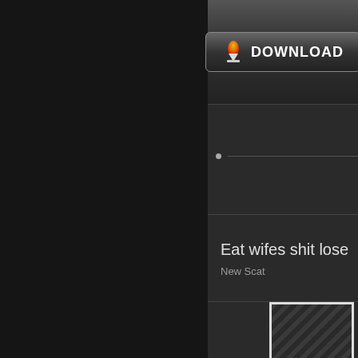[Figure (screenshot): Download button with arrow icon and bold white DOWNLOAD text on dark gradient background]
Eat wifes shit lose
New Scat
[Figure (photo): Partial thumbnail image with diagonal stripe pattern and dark red accent at bottom]